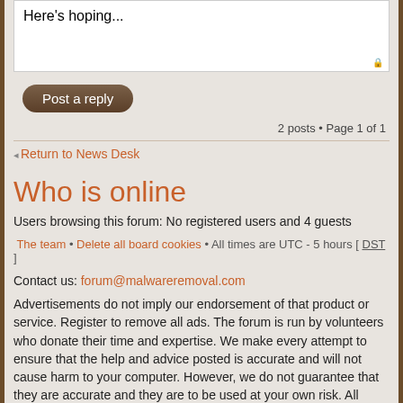Here's hoping...
Post a reply
2 posts • Page 1 of 1
Return to News Desk
Who is online
Users browsing this forum: No registered users and 4 guests
The team • Delete all board cookies • All times are UTC - 5 hours [ DST ]
Contact us: forum@malwareremoval.com
Advertisements do not imply our endorsement of that product or service. Register to remove all ads. The forum is run by volunteers who donate their time and expertise. We make every attempt to ensure that the help and advice posted is accurate and will not cause harm to your computer. However, we do not guarantee that they are accurate and they are to be used at your own risk. All trademarks are the property of their respective owners.